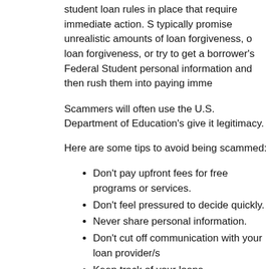student loan rules in place that require immediate action. Scammers typically promise unrealistic amounts of loan forgiveness, or try to get a borrower's Federal Student personal information and then rush them into paying immediately.
Scammers will often use the U.S. Department of Education's name to give it legitimacy.
Here are some tips to avoid being scammed:
Don't pay upfront fees for free programs or services.
Don't feel pressured to decide quickly.
Never share personal information.
Don't cut off communication with your loan provider/s
Keep track of your loans.
More from the Pennsylvania Higher Education Assistance A
June 6 is the Anniversary of D-Day